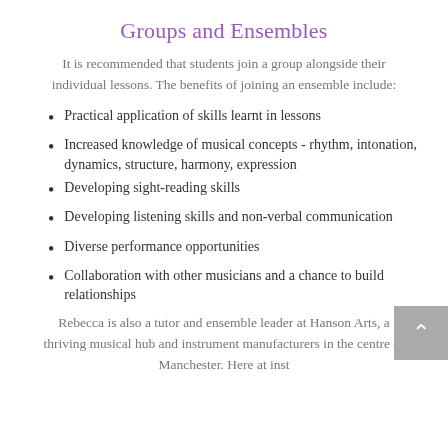Groups and Ensembles
It is recommended that students join a group alongside their individual lessons. The benefits of joining an ensemble include:
Practical application of skills learnt in lessons
Increased knowledge of musical concepts - rhythm, intonation, dynamics, structure, harmony, expression
Developing sight-reading skills
Developing listening skills and non-verbal communication
Diverse performance opportunities
Collaboration with other musicians and a chance to build relationships
Rebecca is also a tutor and ensemble leader at Hanson Arts, a thriving musical hub and instrument manufacturers in the centre of Manchester. Here at inst...